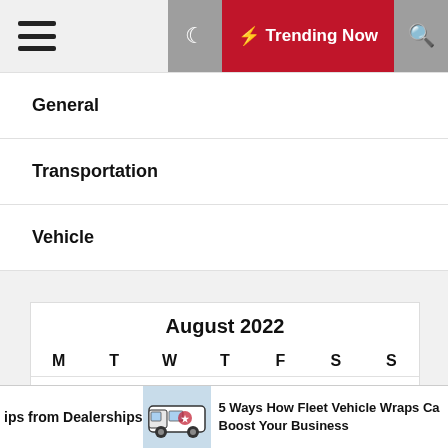Trending Now
General
Transportation
Vehicle
| M | T | W | T | F | S | S |
| --- | --- | --- | --- | --- | --- | --- |
| 1 | 2 | 3 | 4 | 5 | 6 | 7 |
| 8 | 9 | 10 | 11 | 12 | 13 | 14 |
| 15 | 16 | 17 | 18 | 19 | 20 | 21 |
August 2022
ips from Dealerships  |  5 Ways How Fleet Vehicle Wraps Can Boost Your Business